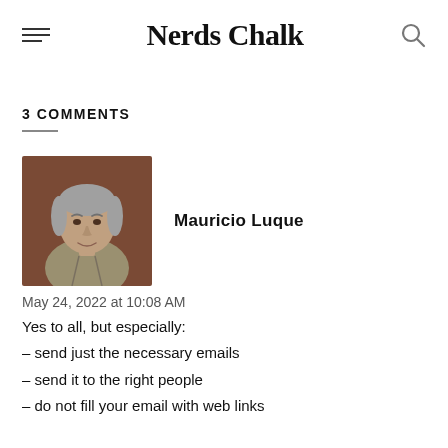Nerds Chalk
3 COMMENTS
[Figure (photo): Profile photo of Mauricio Luque, a middle-aged man with gray hair, wearing a collared shirt, against a brown/reddish background.]
Mauricio Luque
May 24, 2022 at 10:08 AM
Yes to all, but especially:
– send just the necessary emails
– send it to the right people
– do not fill your email with web links